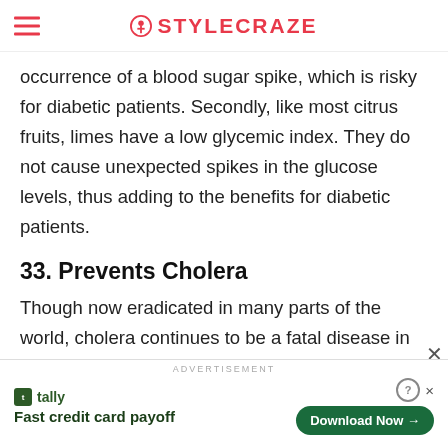STYLECRAZE
occurrence of a blood sugar spike, which is risky for diabetic patients. Secondly, like most citrus fruits, limes have a low glycemic index. They do not cause unexpected spikes in the glucose levels, thus adding to the benefits for diabetic patients.
33. Prevents Cholera
Though now eradicated in many parts of the world, cholera continues to be a fatal disease in some places. Fortunately, limes and other citrus fruits can help prevent the occurrence of cholera. Lime juice, when added to potentially infected water, can prove
ADVERTISEMENT